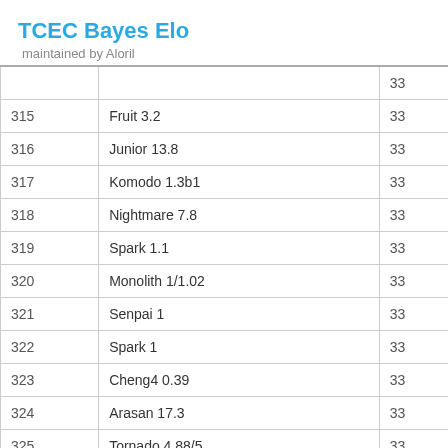TCEC Bayes Elo
maintained by Aloril
| # | Engine | Elo |
| --- | --- | --- |
| 315 | Fruit 3.2 | 33 |
| 316 | Junior 13.8 | 33 |
| 317 | Komodo 1.3b1 | 33 |
| 318 | Nightmare 7.8 | 33 |
| 319 | Spark 1.1 | 33 |
| 320 | Monolith 1/1.02 | 33 |
| 321 | Senpai 1 | 33 |
| 322 | Spark 1 | 33 |
| 323 | Cheng4 0.39 | 33 |
| 324 | Arasan 17.3 | 33 |
| 325 | Tornado 4.88/5 | 33 |
| 326 | Onno 1.2.7 | 33 |
| 327 | Sjeng c't 2010 | 33 |